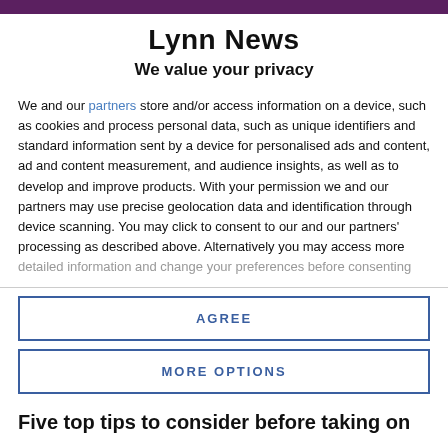Lynn News
We value your privacy
We and our partners store and/or access information on a device, such as cookies and process personal data, such as unique identifiers and standard information sent by a device for personalised ads and content, ad and content measurement, and audience insights, as well as to develop and improve products. With your permission we and our partners may use precise geolocation data and identification through device scanning. You may click to consent to our and our partners' processing as described above. Alternatively you may access more detailed information and change your preferences before consenting
AGREE
MORE OPTIONS
Five top tips to consider before taking on